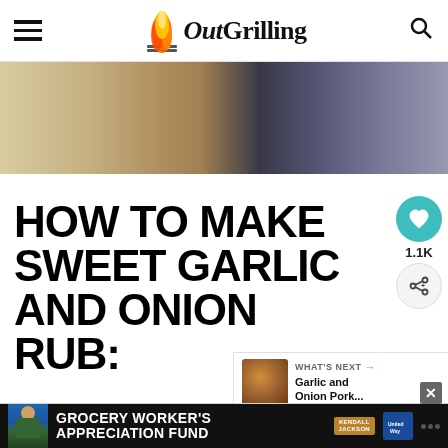Out Grilling — navigation header with hamburger menu and search icon
[Figure (photo): Close-up photo of a dark spherical object (bowl or ingredient) on a light wooden or textured surface]
HOW TO MAKE SWEET GARLIC AND ONION RUB:
[Figure (infographic): Social sharing sidebar with heart/save button showing 1.1K saves and a share button]
[Figure (infographic): What's Next panel showing a thumbnail of Garlic and Onion Pork with label and arrow]
[Figure (photo): Partial food photo showing dotted/patterned textile or food surface]
[Figure (infographic): Advertisement banner: GROCERY WORKER'S APPRECIATION FUND with Kendall-Jackson and United Way logos]